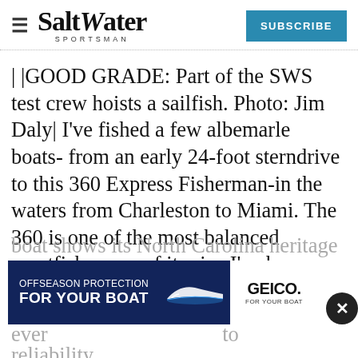Salt Water Sportsman | SUBSCRIBE
| |GOOD GRADE: Part of the SWS test crew hoists a sailfish. Photo: Jim Daly| I've fished a few albemarle boats- from an early 24-foot sterndrive to this 360 Express Fisherman-in the waters from Charleston to Miami. The 360 is one of the most balanced sportfishermen of its size I've been aboard-from any builder. This boat shows its North Carolina heritage in every detail, from its build quality to reliability.
[Figure (other): GEICO Offseason Protection For Your Boat advertisement banner with boat silhouette graphic]